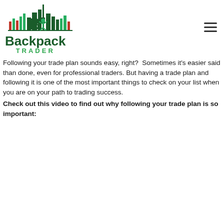[Figure (logo): Backpack Trader logo with city skyline silhouette graphic and green text reading 'Backpack TRADER']
Following your trade plan sounds easy, right?  Sometimes it's easier said than done, even for professional traders. But having a trade plan and following it is one of the most important things to check on your list when you are on your path to trading success.
Check out this video to find out why following your trade plan is so important: